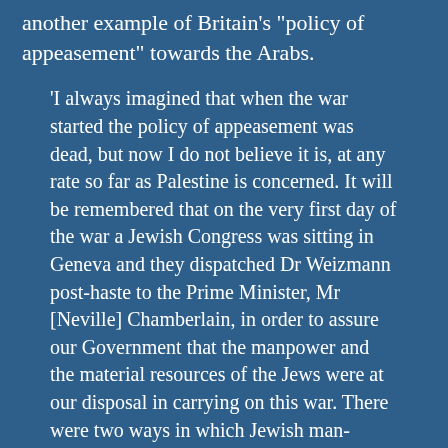another example of Britain's "policy of appeasement" towards the Arabs.
'I always imagined that when the war started the policy of appeasement was dead, but now I do not believe it is, at any rate so far as Palestine is concerned. It will be remembered that on the very first day of the war a Jewish Congress was sitting in Geneva and they dispatched Dr Weizmann post-haste to the Prime Minister, Mr [Neville] Chamberlain, in order to assure our Government that the manpower and the material resources of the Jews were at our disposal in carrying on this war. There were two ways in which Jewish man-power could have been used to assist our war effort – first of all, recruitment in Palestine itself, and secondly, recruitment of Jews from abroad. Unfortunately these offers have never been accepted and given effect to. I believe at the outset, when Mr Malcolm MacDonald was Colonial Secretary, he turned them down, and he of course, was one of the arch-appeasers, who was not only prepared to sacrifice other people in a policy of appeasement